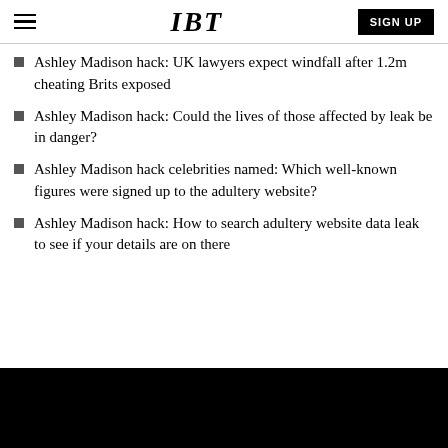IBT  SIGN UP
Ashley Madison hack: UK lawyers expect windfall after 1.2m cheating Brits exposed
Ashley Madison hack: Could the lives of those affected by leak be in danger?
Ashley Madison hack celebrities named: Which well-known figures were signed up to the adultery website?
Ashley Madison hack: How to search adultery website data leak to see if your details are on there
[Figure (photo): Black rectangle image area at the bottom of the page]